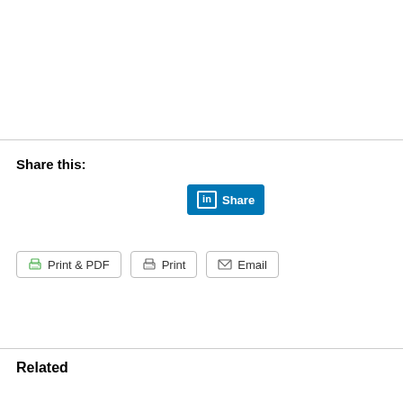Share this:
[Figure (screenshot): LinkedIn Share button - blue button with 'in' logo and 'Share' text]
[Figure (screenshot): Action buttons row: Print & PDF (green printer icon), Print (grey printer icon), Email (grey envelope icon)]
Related